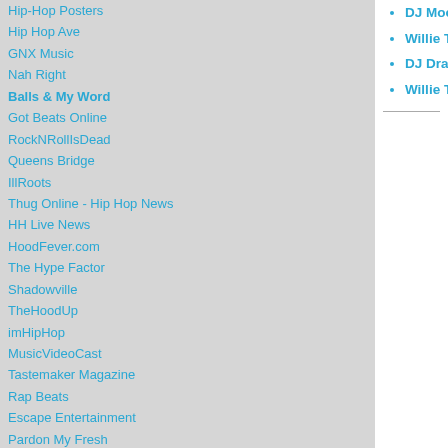Hip-Hop Posters
Hip Hop Ave
GNX Music
Nah Right
Balls & My Word
Got Beats Online
RockNRollIsDead
Queens Bridge
IllRoots
Thug Online - Hip Hop News
HH Live News
HoodFever.com
The Hype Factor
Shadowville
TheHoodUp
imHipHop
MusicVideoCast
Tastemaker Magazine
Rap Beats
Escape Entertainment
Pardon My Fresh
Green Hitz
UrbanFreshNation
Drop-Bomb
Ususpects
HipHopGiant
BFochs Beats Blog
Jordan Release Dates
Air Force Ones
Urban Music Blog
BestOfBothOffices
Air Jordans
DJ Moondawg & DJ Head Debiase - Midwest M...
Willie The Kid - Dilla Forever
DJ Drama And DJ Moondawg - The Stimulus P...
Willie The Kid - The Cure 2